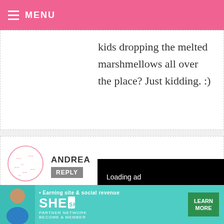MENU
kids dropping the melted marshmellows all over the place? Just kidding. :)
ANDREA
REPLY
[Figure (screenshot): Video ad overlay showing 'Loading ad' with spinner and playback controls (pause, fullscreen, mute)]
we starte the kids a s'mores. t and we ended up with mint chocolate, cookies and cream, toffee bits, dark
[Figure (other): Bottom banner advertisement for SHE Partner Network - Earning site & social revenue. Includes portrait photo, SHE logo, and LEARN MORE button]